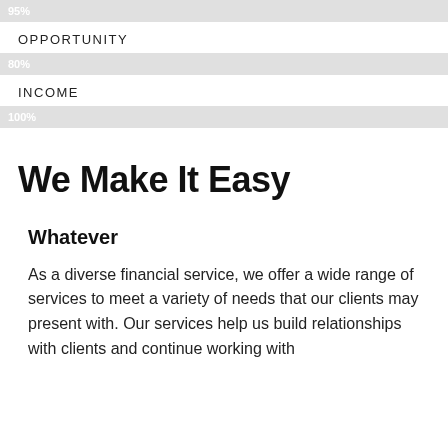[Figure (infographic): Gray progress bar labeled 95%]
OPPORTUNITY
[Figure (infographic): Gray progress bar labeled 80%]
INCOME
[Figure (infographic): Gray progress bar labeled 100%]
We Make It Easy
Whatever
As a diverse financial service, we offer a wide range of services to meet a variety of needs that our clients may present with. Our services help us build relationships with clients and continue working with